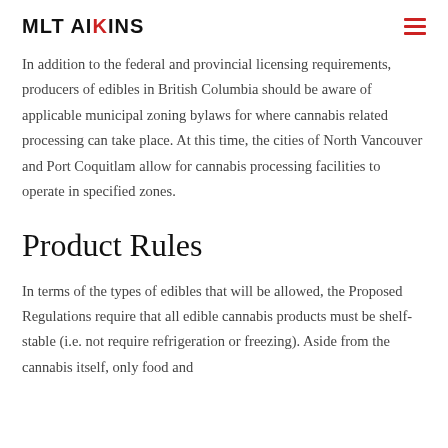MLT AIKINS
In addition to the federal and provincial licensing requirements, producers of edibles in British Columbia should be aware of applicable municipal zoning bylaws for where cannabis related processing can take place. At this time, the cities of North Vancouver and Port Coquitlam allow for cannabis processing facilities to operate in specified zones.
Product Rules
In terms of the types of edibles that will be allowed, the Proposed Regulations require that all edible cannabis products must be shelf-stable (i.e. not require refrigeration or freezing). Aside from the cannabis itself, only food and